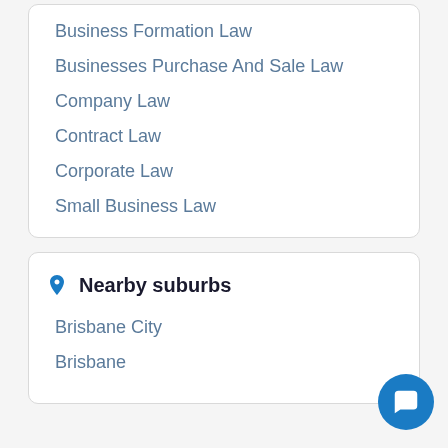Business Formation Law
Businesses Purchase And Sale Law
Company Law
Contract Law
Corporate Law
Small Business Law
Nearby suburbs
Brisbane City
Brisbane